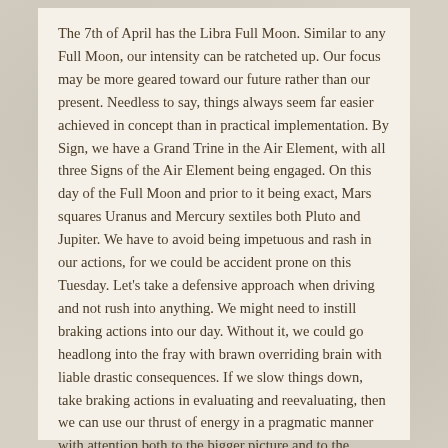The 7th of April has the Libra Full Moon. Similar to any Full Moon, our intensity can be ratcheted up. Our focus may be more geared toward our future rather than our present. Needless to say, things always seem far easier achieved in concept than in practical implementation. By Sign, we have a Grand Trine in the Air Element, with all three Signs of the Air Element being engaged. On this day of the Full Moon and prior to it being exact, Mars squares Uranus and Mercury sextiles both Pluto and Jupiter. We have to avoid being impetuous and rash in our actions, for we could be accident prone on this Tuesday. Let's take a defensive approach when driving and not rush into anything. We might need to instill braking actions into our day. Without it, we could go headlong into the fray with brawn overriding brain with liable drastic consequences. If we slow things down, take braking actions in evaluating and reevaluating, then we can use our thrust of energy in a pragmatic manner with attention both to the bigger picture and to the smallest detail.